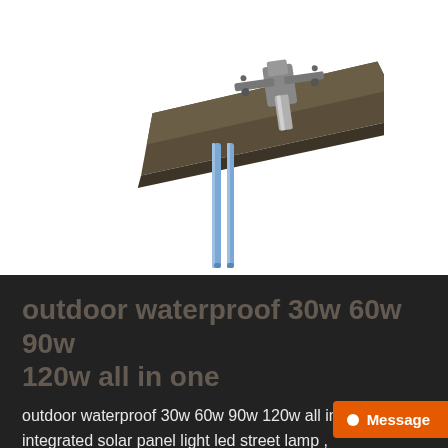[Figure (photo): Solar street lamp unit shown from below at an angle, with a dark bronze/grey flat rectangular solar panel body and two blue vertical tubes/wires hanging down from a central chrome mounting bracket, on a white background.]
outdoor waterproof 30w 60w 90w 120w all in one
outdoor waterproof 30w 60w 90w 120w all in one integrated solar panel light led street lamp , complete details about outdoor waterproof 30w